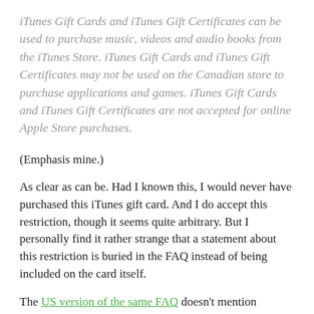iTunes Gift Cards and iTunes Gift Certificates can be used to purchase music, videos and audio books from the iTunes Store. iTunes Gift Cards and iTunes Gift Certificates may not be used on the Canadian store to purchase applications and games. iTunes Gift Cards and iTunes Gift Certificates are not accepted for online Apple Store purchases.
(Emphasis mine.)
As clear as can be. Had I known this, I would never have purchased this iTunes gift card. And I do accept this restriction, though it seems quite arbitrary. But I personally find it rather strange that a statement about this restriction is buried in the FAQ instead of being included on the card itself.
The US version of the same FAQ doesn't mention applications: